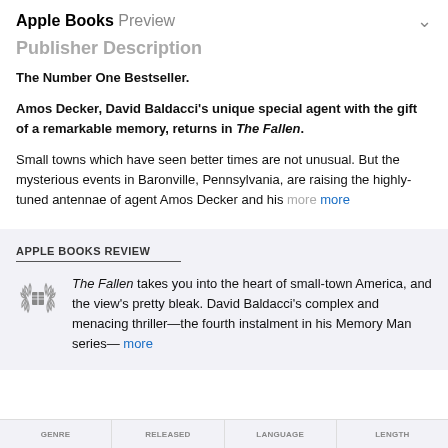Apple Books Preview
Publisher Description
The Number One Bestseller.
Amos Decker, David Baldacci's unique special agent with the gift of a remarkable memory, returns in The Fallen.
Small towns which have seen better times are not unusual. But the mysterious events in Baronville, Pennsylvania, are raising the highly-tuned antennae of agent Amos Decker and his more
APPLE BOOKS REVIEW
The Fallen takes you into the heart of small-town America, and the view's pretty bleak. David Baldacci's complex and menacing thriller—the fourth instalment in his Memory Man series— more
GENRE | RELEASED | LANGUAGE | LENGTH